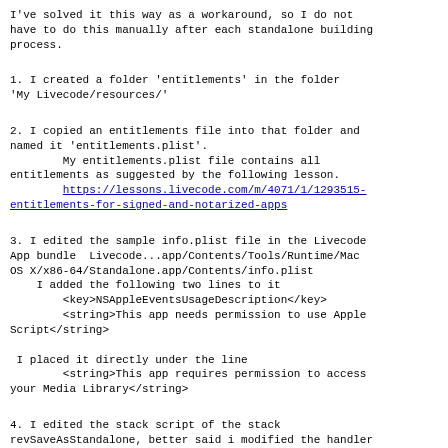I've solved it this way as a workaround, so I do not have to do this manually after each standalone building process.
1. I created a folder 'entitlements' in the folder 'My Livecode/resources/'
2. I copied an entitlements file into that folder and named it 'entitlements.plist'.
        My entitlements.plist file contains all entitlements as suggested by the following lesson.
        https://lessons.livecode.com/m/4071/1/1293515-entitlements-for-signed-and-notarized-apps
3. I edited the sample info.plist file in the Livecode App bundle  Livecode...app/Contents/Tools/Runtime/Mac OS X/x86-64/Standalone.app/Contents/info.plist
    I added the following two lines to it
        <key>NSAppleEventsUsageDescription</key>
        <string>This app needs permission to use Apple Script</string>

 I placed it directly under the line
        <string>This app requires permission to access your Media Library</string>
4. I edited the stack script of the stack revSaveAsStandalone, better said i modified the handler performAdHocCodesign pAppBundle